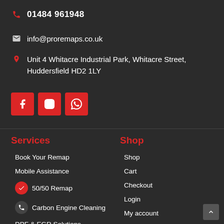01484 961948
info@proremaps.co.uk
Unit 4 Whitacre Industrial Park, Whitacre Street, Huddersfield HD2 1LY
[Figure (other): Social media icons: Facebook, Instagram, WhatsApp — red square buttons]
Services
Book Your Remap
Mobile Assistance
50/50 Remap
Carbon Engine Cleaning
DPF & EGR Solutions
Shop
Shop
Cart
Checkout
Login
My account